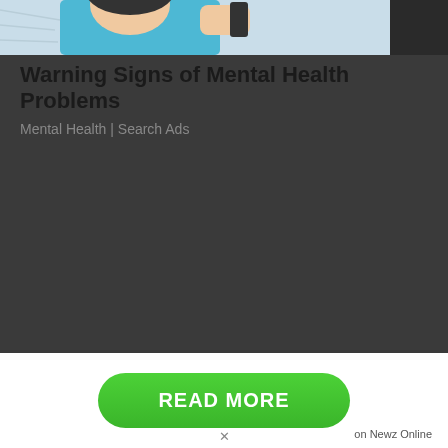[Figure (illustration): Cartoon illustration of a person holding their head, partially cropped at top of page, drawn in blue and skin-tone colors on a light background.]
Warning Signs of Mental Health Problems
Mental Health | Search Ads
READ MORE
on Newz Online